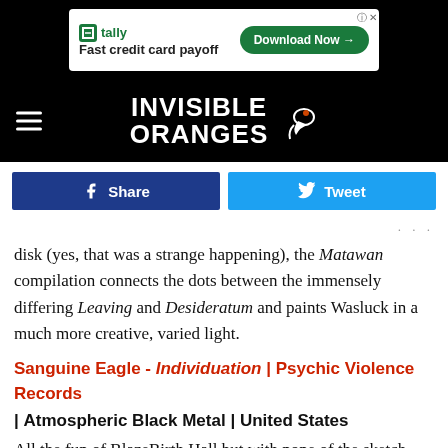[Figure (screenshot): Advertisement banner for Tally fast credit card payoff with Download Now button]
[Figure (logo): Invisible Oranges website logo with bird/hand graphic on black background, hamburger menu icon on left]
[Figure (screenshot): Facebook Share and Twitter Tweet social sharing buttons]
disk (yes, that was a strange happening), the Matawan compilation connects the dots between the immensely differing Leaving and Desideratum and paints Wasluck in a much more creative, varied light.
Sanguine Eagle - Individuation | Psychic Violence Records | Atmospheric Black Metal | United States
All the fun of BlazeBirth Hall but with none of the sketch (I'm going to catch so much flak for that). A professional pressing light
[Figure (screenshot): Hold and Move overlay advertisement with people icon on dark background, overlapping bottom of page content]